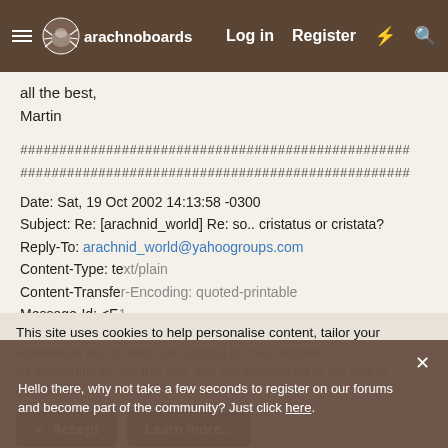arachnoboards  Log in  Register
all the best,
Martin
##################################################
##################################################
Date: Sat, 19 Oct 2002 14:13:58 -0300
Subject: Re: [arachnid_world] Re: so.. cristatus or cristata?
Reply-To: arachnid_world@yahoogroups.com
Content-Type: text/plain
Content-Transfer-Encoding: quoted-printable
Message-Id: <E18...@mxng15.kundenserver.de>
Hello there, why not take a few seconds to register on our forums and become part of the community? Just click here.
This site uses cookies to help personalise content, tailor your experience and to keep you logged in if you register.
By continuing to use this site, you are consenting to our use of cookies.
✓ Accept    Learn more...